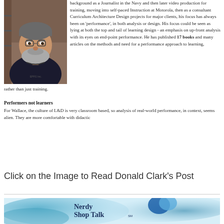[Figure (photo): Headshot photo of a middle-aged man with grey beard wearing a dark polo shirt]
background as a Journalist in the Navy and then later video production for training, moving into self-paced Instruction at Motorola, then as a consultant Curriculum Architecture Design projects for major clients, his focus has always been on 'performance', in both analysis or design. His focus could be seen as lying at both the top and tail of learning design - an emphasis on up-front analysis with its eyes on end-point performance. He has published 17 books and many articles on the methods and need for a performance approach to learning, rather than just training.
Performers not learners
For Wallace, the culture of L&D is very classroom based, so analysis of real-world performance, in context, seems alien. They are more comfortable with didactic
Click on the Image to Read Donald Clark's Post
[Figure (illustration): Nerdy Shop Talk podcast banner with watercolor blue background, speech bubble icons, text reading 'Nerdy Shop Talk SM with your hosts Julie Dirksen and Tracy Parish — Defining Correct Performance']